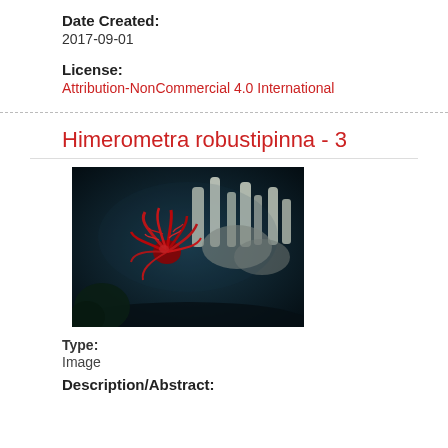Date Created:
2017-09-01
License:
Attribution-NonCommercial 4.0 International
Himerometra robustipinna - 3
[Figure (photo): Underwater photograph of Himerometra robustipinna, a red feather star or crinoid, clinging to white coral/sponge structures against a dark deep-sea background.]
Type:
Image
Description/Abstract: